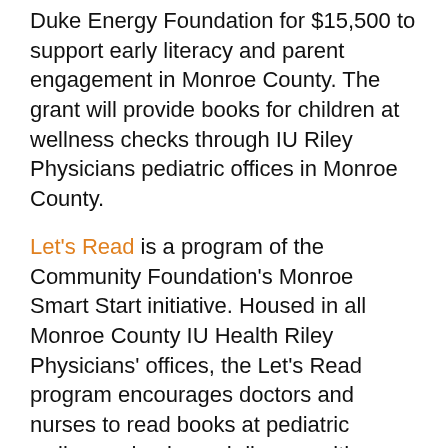Duke Energy Foundation for $15,500 to support early literacy and parent engagement in Monroe County. The grant will provide books for children at wellness checks through IU Riley Physicians pediatric offices in Monroe County.
Let's Read is a program of the Community Foundation's Monroe Smart Start initiative. Housed in all Monroe County IU Health Riley Physicians' offices, the Let's Read program encourages doctors and nurses to read books at pediatric wellness checks and discuss with families the important role that reading has in school readiness. Free books are distributed to children ages six months to five years along with a packet of literacy resources for families.  To date, more than 8,000 children and families have received literacy materials and developmental resources through Let's Read.
"Let's Read opens the door to academic success," said President and CEO Tina Peterson. "This grant will provide